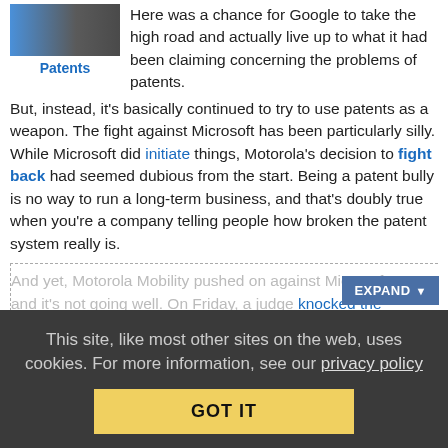[Figure (photo): Thumbnail image with blue and dark tones, labeled 'Patents' below]
Here was a chance for Google to take the high road and actually live up to what it had been claiming concerning the problems of patents. But, instead, it's basically continued to try to use patents as a weapon. The fight against Microsoft has been particularly silly. While Microsoft did initiate things, Motorola's decision to fight back had seemed dubious from the start. Being a patent bully is no way to run a long-term business, and that's doubly true when you're a company telling people how broken the patent system really is.
And yet, Motorola Mobility pushed on against Microsoft… and it's not going well. On Friday, a judge knocked the damages do…
Read More | 42 Comments
Another Key Motorola vs. Apple Patent
This site, like most other sites on the web, uses cookies. For more information, see our privacy policy
GOT IT